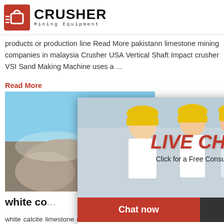[Figure (logo): Crusher Mining Equipment logo with red icon and bold black text]
products or production line Read More pakistann limestone mining companies in malaysia Crusher USAVertical Shaft Impact crusher VSI Sand Making Machine uses a ...
Read More
[Figure (photo): Mining/crushing site with rocks and industrial equipment]
[Figure (screenshot): Live Chat popup overlay with workers in yellow hard hats. Title: LIVE CHAT. Subtitle: Click for a Free Consultation. Buttons: Chat now, Chat later.]
[Figure (photo): Right sidebar with 24Hrs Online banner, female customer service agent with headset, Need questions & suggestion? text, Chat Now button, Enquiry section, limingjlmofen@sina.com email]
white co...
white calcite limestone querry riad darailenfr. w... limestone quarry in malaysia XSM excellent min... machinery products or production line design th... committed to building the Chinese brand mine c... processing machinery mainly crusher mill sand m... products white calcite limestone quarry in mala... than one hundred of the